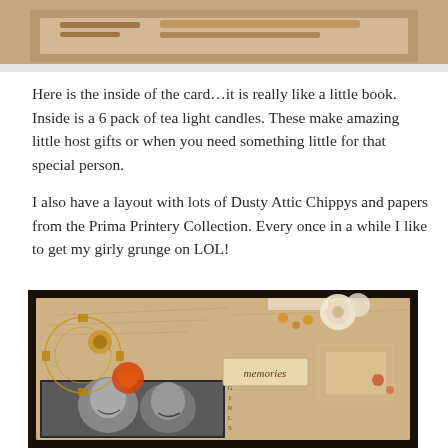[Figure (photo): Top portion of a photo showing craft/scrapbooking card, partially cropped at top]
Here is the inside of the card…it is really like a little book. Inside is a 6 pack of tea light candles. These make amazing little host gifts or when you need something little for that special person.
I also have a layout with lots of Dusty Attic Chippys and papers from the Prima Printery Collection. Every once in a while I like to get my girly grunge on LOL!
[Figure (photo): Scrapbook layout with vintage/grunge style featuring gears, flowers, jewelry, chipboard pieces, a black and white photo of two women smiling, and script-style background paper in warm brown tones]